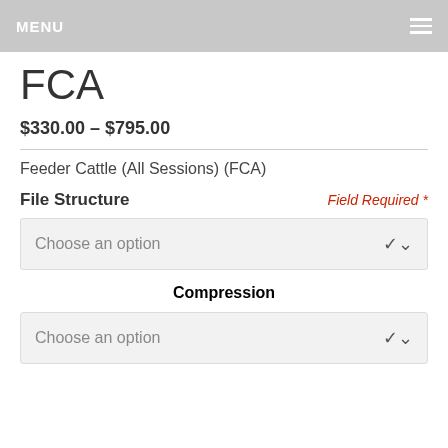MENU
FCA
$330.00 – $795.00
Feeder Cattle (All Sessions) (FCA)
File Structure
Field Required *
Choose an option
Compression
Choose an option